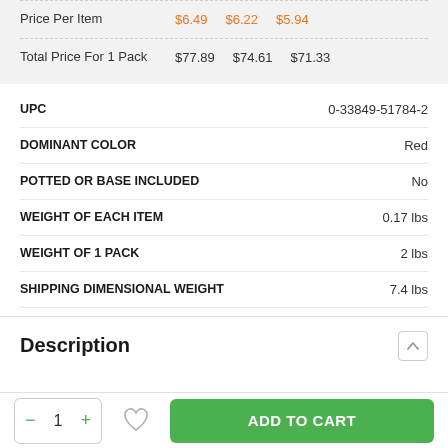|  | Col1 | Col2 | Col3 |
| --- | --- | --- | --- |
| Price Per Item | $6.49 | $6.22 | $5.94 |
| Total Price For 1 Pack | $77.89 | $74.61 | $71.33 |
| Attribute | Value |
| --- | --- |
| UPC | 0-33849-51784-2 |
| DOMINANT COLOR | Red |
| POTTED OR BASE INCLUDED | No |
| WEIGHT OF EACH ITEM | 0.17 lbs |
| WEIGHT OF 1 PACK | 2 lbs |
| SHIPPING DIMENSIONAL WEIGHT | 7.4 lbs |
Description